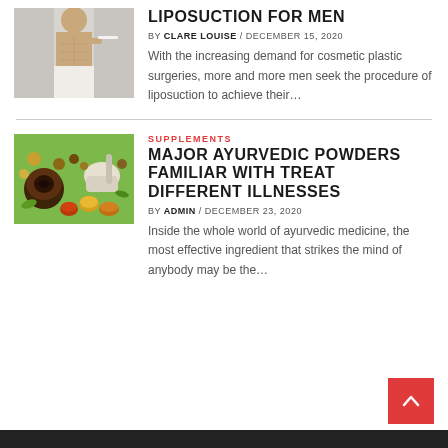[Figure (photo): Shirtless fit man in white pants holding measurement tape around waist]
LIPOSUCTION FOR MEN
BY CLARE LOUISE / DECEMBER 15, 2020
With the increasing demand for cosmetic plastic surgeries, more and more men seek the procedure of liposuction to achieve their...
[Figure (photo): Assorted ayurvedic herbs, spices and powders on green background with mortar and bowls]
SUPPLEMENTS
MAJOR AYURVEDIC POWDERS FAMILIAR WITH TREAT DIFFERENT ILLNESSES
BY ADMIN / DECEMBER 23, 2020
Inside the whole world of ayurvedic medicine, the most effective ingredient that strikes the mind of anybody may be the...